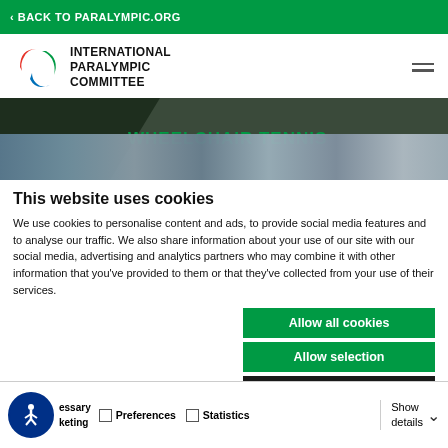< BACK TO PARALYMPIC.ORG
[Figure (logo): International Paralympic Committee logo with agitos symbol and text: INTERNATIONAL PARALYMPIC COMMITTEE]
[Figure (photo): WHEELCHAIR TENNIS banner with dark background and photo strip of spectators]
This website uses cookies
We use cookies to personalise content and ads, to provide social media features and to analyse our traffic. We also share information about your use of our site with our social media, advertising and analytics partners who may combine it with other information that you've provided to them or that they've collected from your use of their services.
Allow all cookies
Allow selection
Use necessary cookies o
essary
keting
Preferences
Statistics
Show details